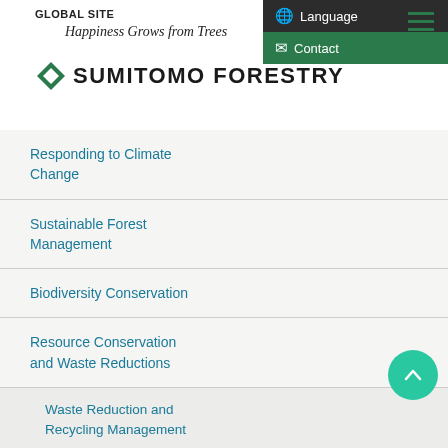GLOBAL SITE
Happiness Grows from Trees
SUMITOMO FORESTRY
Responding to Climate Change
Sustainable Forest Management
Biodiversity Conservation
Resource Conservation and Waste Reductions
Waste Reduction and Recycling Management
Initiatives to Achieve Zero Emissions
reduce the environmental impact of our factors such as the state of progress of following seven categories for a more fi Management Plan. These categories ar Business, Renovation Business, Lifesty
* Includes new housing construction sites, do manufacturing plants and demolition work s
Manufacturing Bus
Initiatives at Domestic Manu
Sumitomo Forestry Group managed to a (recycling rate of 98% or more) were ac